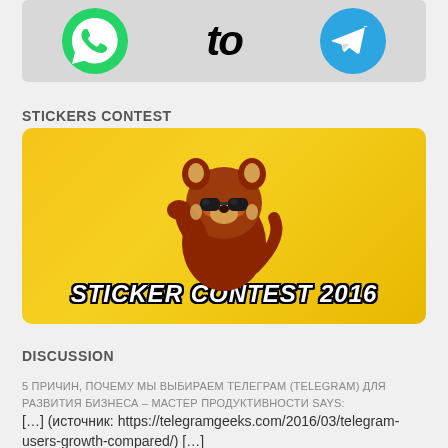[Figure (illustration): Top banner showing WhatsApp logo, 'to' text, and Telegram logo on a gray background]
STICKERS CONTEST
[Figure (illustration): Sticker Contest 2016 banner with a cartoon red panda wearing sunglasses on a yellow gradient background, text reads STICKER CONTEST 2016]
DISCUSSION
5 ПРИЧИН, ПОЧЕМУ МЫ ВЫБИРАЕМ ТЕЛЕГРАМ (TELEGRAM) ДЛЯ РАЗВИТИЯ БИЗНЕСА – МАСТЕР ПРОДУКТИВНОСТИ SAYS:
[…] (источник: https://telegramgeeks.com/2016/03/telegram-users-growth-compared/) […]